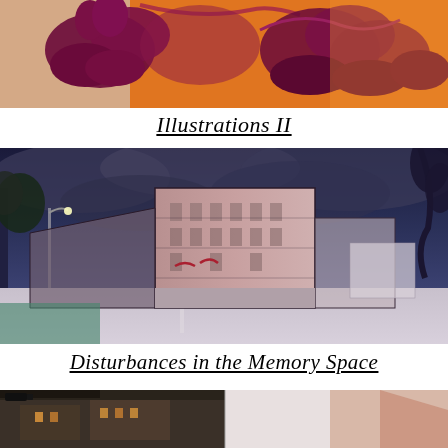[Figure (illustration): Top portion of an illustration showing figures on horseback in deep red/maroon tones against an orange background, cropped at top of page]
Illustrations II
[Figure (illustration): A large painting/illustration of an urban street scene with a multi-story building in pinkish tones, dark moody sky with grey-blue clouds, and a road receding into the distance. Mixed media artwork combining painting and architectural drawing.]
Disturbances in the Memory Space
[Figure (photo): Bottom portion of a photograph showing what appears to be urban architecture, split into two sections — left showing a building exterior, right showing a lighter toned image, cropped at bottom of page]